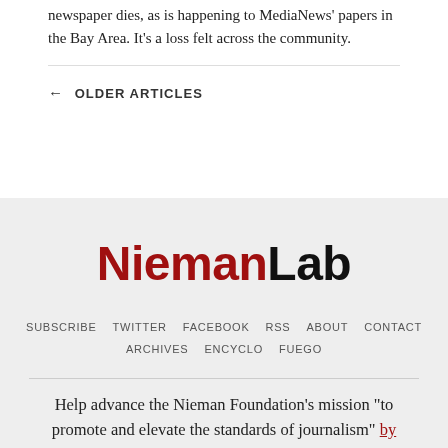newspaper dies, as is happening to MediaNews' papers in the Bay Area. It's a loss felt across the community.
← OLDER ARTICLES
[Figure (logo): NiemanLab logo with 'Nieman' in dark red and 'Lab' in black bold sans-serif text]
SUBSCRIBE   TWITTER   FACEBOOK   RSS   ABOUT   CONTACT   ARCHIVES   ENCYCLO   FUEGO
Help advance the Nieman Foundation's mission "to promote and elevate the standards of journalism" by making a donation